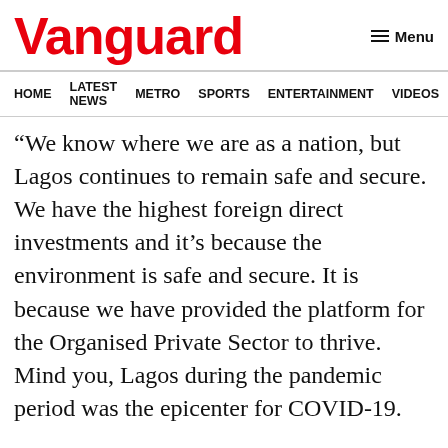Vanguard
HOME  LATEST NEWS  METRO  SPORTS  ENTERTAINMENT  VIDEOS
“We know where we are as a nation, but Lagos continues to remain safe and secure. We have the highest foreign direct investments and it’s because the environment is safe and secure. It is because we have provided the platform for the Organised Private Sector to thrive. Mind you, Lagos during the pandemic period was the epicenter for COVID-19.
“For about one and a half years, we were slowed down but our slowing down didn’t slow down economic development.